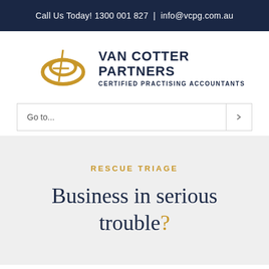Call Us Today! 1300 001 827  |  info@vcpg.com.au
[Figure (logo): Van Cotter Partners logo with golden interlocking rings and italic number 4 graphic, alongside bold dark navy text reading VAN COTTER PARTNERS and subtitle CERTIFIED PRACTISING ACCOUNTANTS]
Go to...
RESCUE TRIAGE
Business in serious trouble?